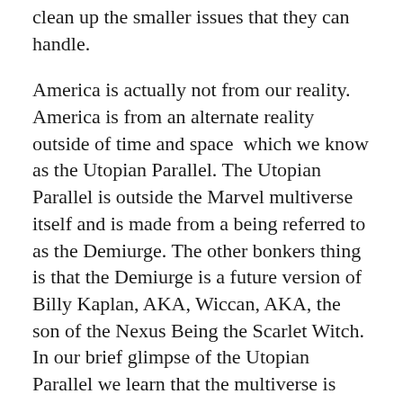clean up the smaller issues that they can handle.
America is actually not from our reality. America is from an alternate reality outside of time and space which we know as the Utopian Parallel. The Utopian Parallel is outside the Marvel multiverse itself and is made from a being referred to as the Demiurge. The other bonkers thing is that the Demiurge is a future version of Billy Kaplan, AKA, Wiccan, AKA, the son of the Nexus Being the Scarlet Witch. In our brief glimpse of the Utopian Parallel we learn that the multiverse is beginning to pull the Utopian Parallel into itself with the appearance of black holes in the sky.
Powers
America is an immensely powerful person and she shows it! In America's first appearance she takes on a horde of otherworldly demons single-handedly. America is able to fly at extremely super fast speeds, she possesses super strength, and super speed, ability, and lots more. She is